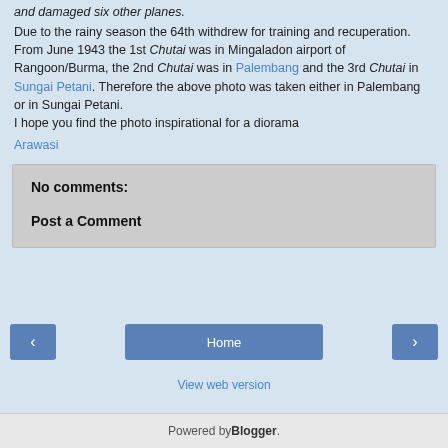and damaged six other planes. Due to the rainy season the 64th withdrew for training and recuperation. From June 1943 the 1st Chutai was in Mingaladon airport of Rangoon/Burma, the 2nd Chutai was in Palembang and the 3rd Chutai in Sungai Petani. Therefore the above photo was taken either in Palembang or in Sungai Petani. I hope you find the photo inspirational for a diorama
Arawasi
No comments:
Post a Comment
Home
View web version
Powered by Blogger.